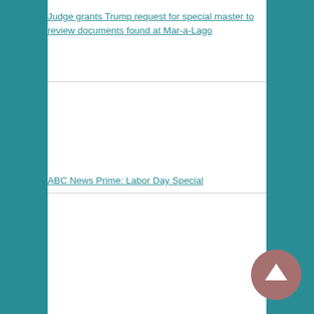Judge grants Trump request for special master to review documents found at Mar-a-Lago
ABC News Prime: Labor Day Special
[Figure (other): Circular scroll-to-top button with an upward arrow, mauve/rose color]